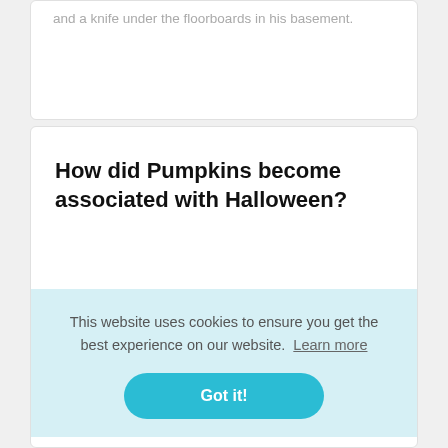and a knife under the floorboards in his basement.
How did Pumpkins become associated with Halloween?
[Figure (other): Twitter and Blogger social share icons]
Carving pumpkins into jack-o'-lanterns is a popular Halloween tradition that originated
This website uses cookies to ensure you get the best experience on our website. Learn more
Got it!
Halloween ritual was born.